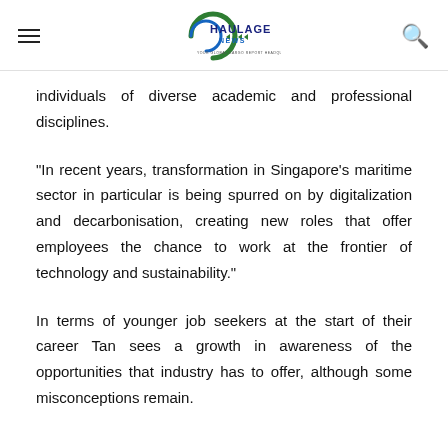Haulage News (logo, hamburger menu, search icon)
individuals of diverse academic and professional disciplines.
"In recent years, transformation in Singapore's maritime sector in particular is being spurred on by digitalization and decarbonisation, creating new roles that offer employees the chance to work at the frontier of technology and sustainability."
In terms of younger job seekers at the start of their career Tan sees a growth in awareness of the opportunities that industry has to offer, although some misconceptions remain.